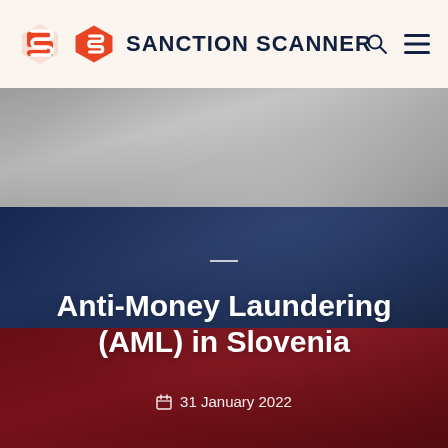SANCTION SCANNER
[Figure (photo): Slovenian/Russian flag waving — three horizontal stripes: light grey/white on top, dark navy blue in middle, dark red/crimson on bottom — used as hero background image for article about AML in Slovenia]
Anti-Money Laundering (AML) in Slovenia
31 January 2022